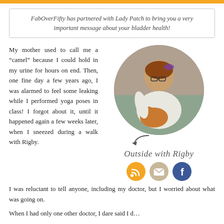FabOverFifty has partnered with Lady Patch to bring you a very important message about your bladder health!
My mother used to call me a “camel” because I could hold in my urine for hours on end. Then, one fine day a few years ago, I was alarmed to feel some leaking while I performed yoga poses in class! I forgot about it, until it happened again a few weeks later, when I sneezed during a walk with Rigby. I was reluctant to tell anyone, including my doctor, but I worried about what was going on.
[Figure (photo): Circular photo of a woman holding a golden dog outdoors, with an arrow pointing down and social media icons below, labeled 'Outside with Rigby']
When I had only one other doctor, I dare said I d...